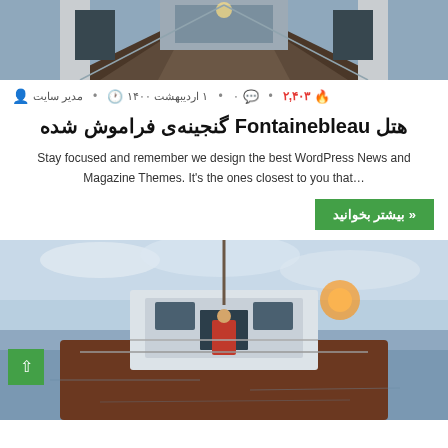[Figure (photo): Top-down view from the bow of a wooden boat looking towards the cabin/wheelhouse area, dark wooden deck, calm waters visible on sides]
مدیر سایت  ۱ اردیبهشت ۱۴۰۰  ۰  ۲,۴۰۳
هتل Fontainebleau گنجینه‌ی فراموش شده
Stay focused and remember we design the best WordPress News and Magazine Themes. It's the ones closest to you that...
بیشتر بخوانید »
[Figure (photo): View from behind a boat's cabin/wheelhouse on open water, a person visible in the cabin doorway, calm sea and cloudy sky]